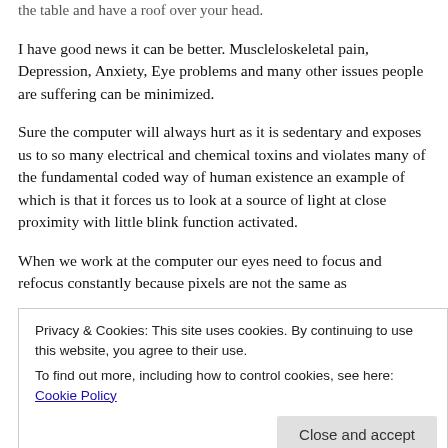the table and have a roof over your head.
I have good news it can be better. Muscleloskeletal pain, Depression, Anxiety, Eye problems and many other issues people are suffering can be minimized.
Sure the computer will always hurt as it is sedentary and exposes us to so many electrical and chemical toxins and violates many of the fundamental coded way of human existence an example of which is that it forces us to look at a source of light at close proximity with little blink function activated.
When we work at the computer our eyes need to focus and refocus constantly because pixels are not the same as
Privacy & Cookies: This site uses cookies. By continuing to use this website, you agree to their use.
To find out more, including how to control cookies, see here: Cookie Policy
This is a big problem, as everything today seems to have a